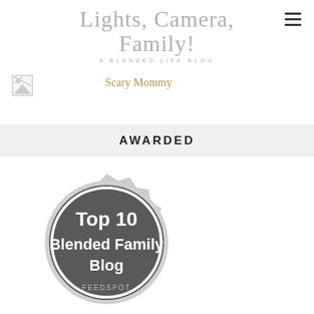Lights, Camera, Family! A BLENDED LIFE BLOG
[Figure (logo): Small broken image icon (placeholder)]
Scary Mommy
AWARDED
[Figure (illustration): Circular badge/seal with starburst edge. Dark grey circle with white ring. Text reads: Top 10 Blended Family Blog FEEDSPOT]